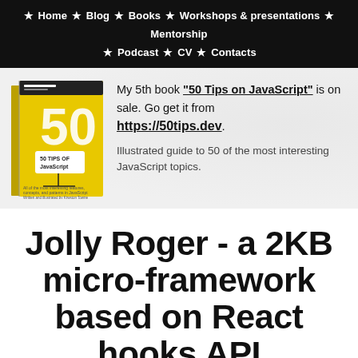★ Home ★ Blog ★ Books ★ Workshops & presentations ★ Mentorship ★ Podcast ★ CV ★ Contacts
[Figure (illustration): Book cover of '50 Tips on JavaScript' — yellow cover with large '50' text and book illustration]
My 5th book "50 Tips on JavaScript" is on sale. Go get it from https://50tips.dev. Illustrated guide to 50 of the most interesting JavaScript topics.
Jolly Roger - a 2KB micro-framework based on React hooks API
Blog/JavaScript · 2019-04-20 · #time, #roger, #const